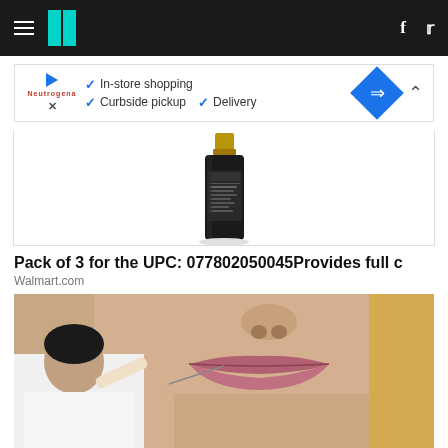HuffPost navigation bar with hamburger menu, logo, Facebook and Twitter icons
[Figure (screenshot): Advertisement banner showing play button, brand logo (Neutrogena), checkmarks for In-store shopping, Curbside pickup, Delivery, blue diamond navigation icon, and collapse caret]
[Figure (photo): Product photo of a dark bottle with gold cap on white background]
Pack of 3 for the UPC: 077802050045Provides full c
Walmart.com
[Figure (photo): Close-up photo of a woman's lower face with blonde hair and turquoise earring, with a man in white shirt appearing to inject or apply something to her lips with a needle or tool]